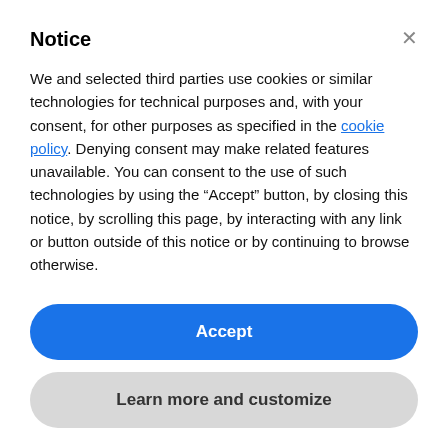Notice
We and selected third parties use cookies or similar technologies for technical purposes and, with your consent, for other purposes as specified in the cookie policy. Denying consent may make related features unavailable. You can consent to the use of such technologies by using the “Accept” button, by closing this notice, by scrolling this page, by interacting with any link or button outside of this notice or by continuing to browse otherwise.
Accept
Learn more and customize
Platonic Video | ph. Marco Badiani
Manifesta12 also includes a series of Collateral Events, as well as locations outside of Palermo